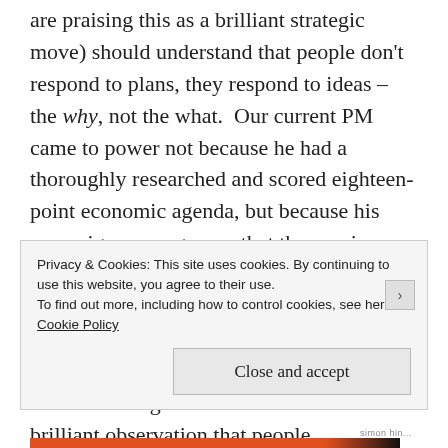are praising this as a brilliant strategic move) should understand that people don't respond to plans, they respond to ideas – the why, not the what.  Our current PM came to power not because he had a thoroughly researched and scored eighteen-point economic agenda, but because his campaign message was that the previous government was corrupt and he wasn't.  It worked.  His two subsequent election wins have been based on similar themes – I'm reliable, the other guys are scary unknowns.  I go back to Simon Sinek's brilliant observation that people
Privacy & Cookies: This site uses cookies. By continuing to use this website, you agree to their use.
To find out more, including how to control cookies, see here: Cookie Policy
Close and accept